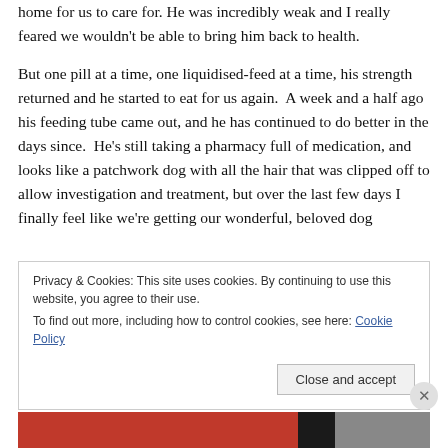home for us to care for. He was incredibly weak and I really feared we wouldn't be able to bring him back to health.
But one pill at a time, one liquidised-feed at a time, his strength returned and he started to eat for us again.  A week and a half ago his feeding tube came out, and he has continued to do better in the days since.  He's still taking a pharmacy full of medication, and looks like a patchwork dog with all the hair that was clipped off to allow investigation and treatment, but over the last few days I finally feel like we're getting our wonderful, beloved dog
Privacy & Cookies: This site uses cookies. By continuing to use this website, you agree to their use.
To find out more, including how to control cookies, see here: Cookie Policy